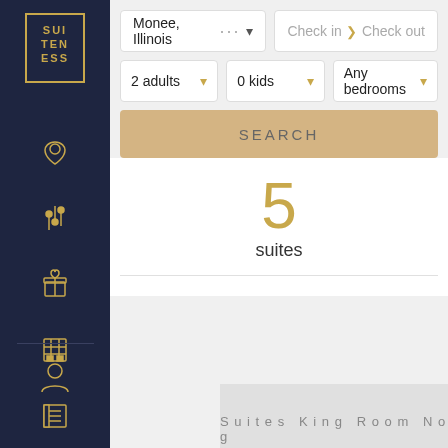[Figure (logo): Suiteness brand logo in gold border on dark navy sidebar]
[Figure (infographic): Navigation sidebar icons: location pin, filter/tower, gift, grid/building, list, user profile]
Monee, Illinois
Check in  > Check out
2 adults
0 kids
Any bedrooms
SEARCH
5
suites